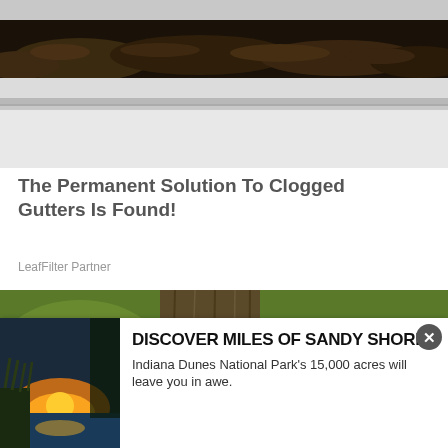[Figure (photo): Close-up photo of a clogged gutter filled with dry leaves and debris, with white fascia board visible below.]
The Permanent Solution To Clogged Gutters Is Found!
LeafFilter Partner
[Figure (photo): Large black Cane Corso dog with brindle markings, mouth open, standing in front of a tree with green foliage in background.]
[Figure (photo): Advertisement thumbnail showing a sandy shoreline at sunset with tall grass, Indiana Dunes.]
DISCOVER MILES OF SANDY SHORE
Indiana Dunes National Park's 15,000 acres will leave you in awe.